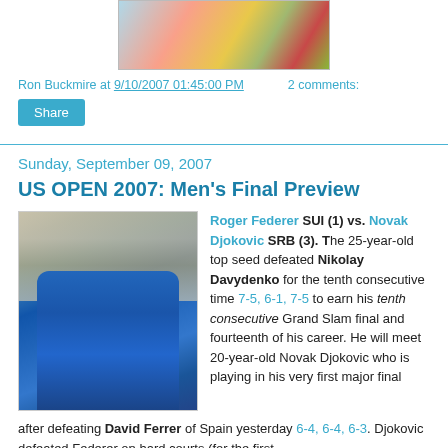[Figure (illustration): Colorful illustrated image partially visible at top of page]
Ron Buckmire at 9/10/2007 01:45:00 PM    2 comments:
Share
Sunday, September 09, 2007
US OPEN 2007: Men's Final Preview
[Figure (photo): Roger Federer in blue shirt raising his arm at US Open tennis court with crowd in background]
Roger Federer SUI (1) vs. Novak Djokovic SRB (3). The 25-year-old top seed defeated Nikolay Davydenko for the tenth consecutive time 7-5, 6-1, 7-5 to earn his tenth consecutive Grand Slam final and fourteenth of his career. He will meet 20-year-old Novak Djokovic who is playing in his very first major final after defeating David Ferrer of Spain yesterday 6-4, 6-4, 6-3. Djokovic defeated Federer on hard courts (for the first